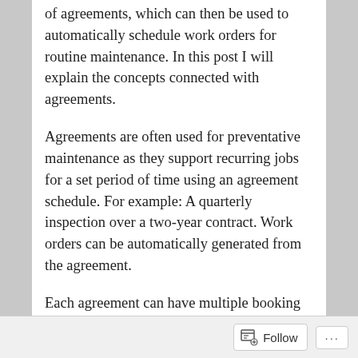of agreements, which can then be used to automatically schedule work orders for routine maintenance. In this post I will explain the concepts connected with agreements.
Agreements are often used for preventative maintenance as they support recurring jobs for a set period of time using an agreement schedule. For example: A quarterly inspection over a two-year contract. Work orders can be automatically generated from the agreement.
Each agreement can have multiple booking setups, then each booking setup will have one or more associated incidents types. Work orders and resource bookings can then be automatically generated for each agreement booking setup based on its incident types. (And any other service / products added to the booking setup.)
Follow ···